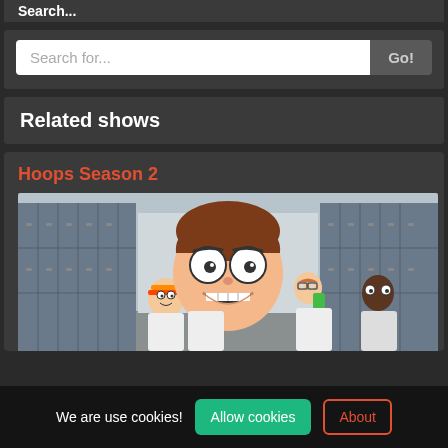Search...
Search for...
Related shows
Hoops Season 2
[Figure (illustration): Animated cartoon scene showing characters in a school locker room hallway. A large-headed brown-haired cartoon male character is in the center foreground with big white eyes and a toothy grin. Behind him are several other cartoon characters including kids with glasses and athletic gear. Blue/gray lockers line both sides of the hallway.]
We are use cookies!
Allow cookies
About